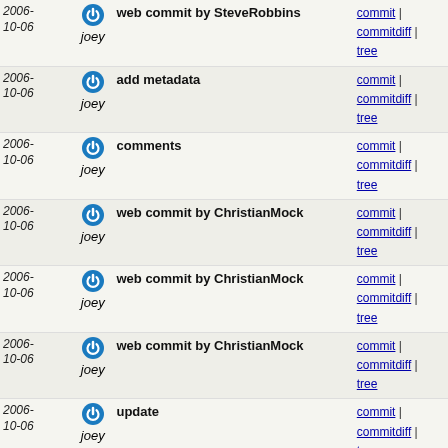| Date |  | Message | Links |
| --- | --- | --- | --- |
| 2006-10-06 | joey | web commit by SteveRobbins | commit | commitdiff | tree |
| 2006-10-06 | joey | add metadata | commit | commitdiff | tree |
| 2006-10-06 | joey | comments | commit | commitdiff | tree |
| 2006-10-06 | joey | web commit by ChristianMock | commit | commitdiff | tree |
| 2006-10-06 | joey | web commit by ChristianMock | commit | commitdiff | tree |
| 2006-10-06 | joey | web commit by ChristianMock | commit | commitdiff | tree |
| 2006-10-06 | joey | update | commit | commitdiff | tree |
| 2006-10-06 | joey | remove our 1st spam | commit | commitdiff | tree |
| 2006-10-06 | joey | web commit by icerain321: add a link | commit | commitdiff | tree |
| 2006-10-04 | joey | add XS-Vcs-Svn field | commit | commitdiff | tree |
| 2006-10-02 | joey | * Patch from Alec Berryman adding a http_auth config... | commit | commitdiff | tree |
| 2006-10-02 | joey | web commit by RecaiOktas: Replace partial patch with an url. | commit | commitdiff | tree |
| 2006-10-02 | joey | web commit by RecaiOktas: Using FindBin in ikiwiki.pl. | commit | commitdiff | tree |